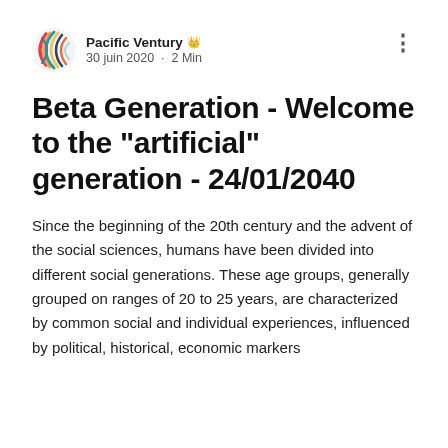Pacific Ventury · 30 juin 2020 · 2 Min
Beta Generation - Welcome to the "artificial" generation - 24/01/2040
Since the beginning of the 20th century and the advent of the social sciences, humans have been divided into different social generations. These age groups, generally grouped on ranges of 20 to 25 years, are characterized by common social and individual experiences, influenced by political, historical, economic markers